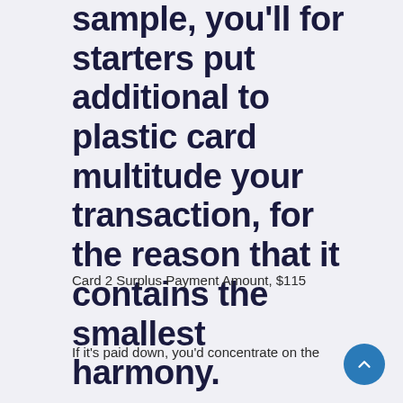sample, you'll for starters put additional to plastic card multitude your transaction, for the reason that it contains the smallest harmony.
Card 2 Surplus Payment Amount, $115
If it's paid down, you'd concentrate on the